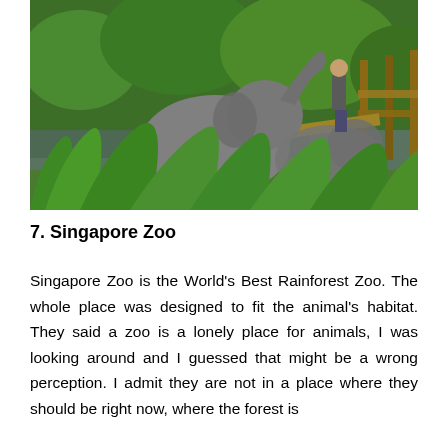[Figure (photo): A photograph of elephants in a zoo enclosure with water, tropical green vegetation in the foreground, wooden fencing, and a zookeeper standing in the background.]
7. Singapore Zoo
Singapore Zoo is the World's Best Rainforest Zoo. The whole place was designed to fit the animal's habitat. They said a zoo is a lonely place for animals, I was looking around and I guessed that might be a wrong perception. I admit they are not in a place where they should be right now, where the forest is